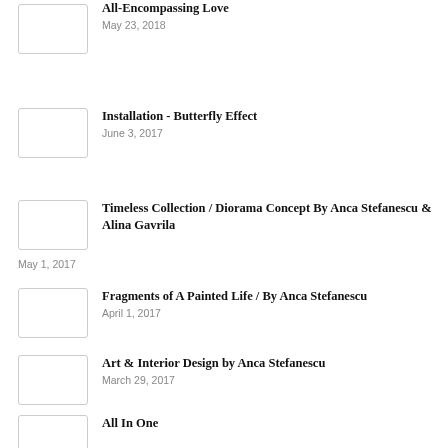All-Encompassing Love
May 23, 2018
Installation - Butterfly Effect
June 3, 2017
Timeless Collection / Diorama Concept By Anca Stefanescu & Alina Gavrila
May 1, 2017
Fragments of A Painted Life / By Anca Stefanescu
April 1, 2017
Art & Interior Design by Anca Stefanescu
March 29, 2017
All In One
March 23, 2017
Double Media
March 21, 2017